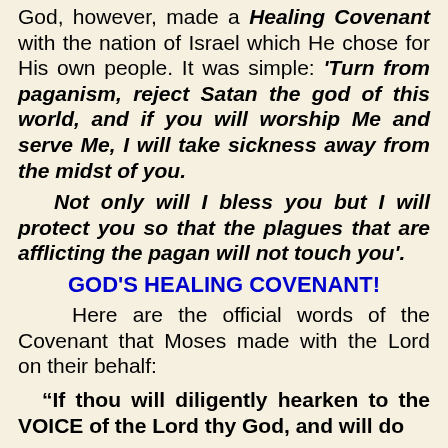God, however, made a Healing Covenant with the nation of Israel which He chose for His own people. It was simple: 'Turn from paganism, reject Satan the god of this world, and if you will worship Me and serve Me, I will take sickness away from the midst of you. Not only will I bless you but I will protect you so that the plagues that are afflicting the pagan will not touch you'.
GOD'S HEALING COVENANT!
Here are the official words of the Covenant that Moses made with the Lord on their behalf:
“If thou will diligently hearken to the VOICE of the Lord thy God, and will do